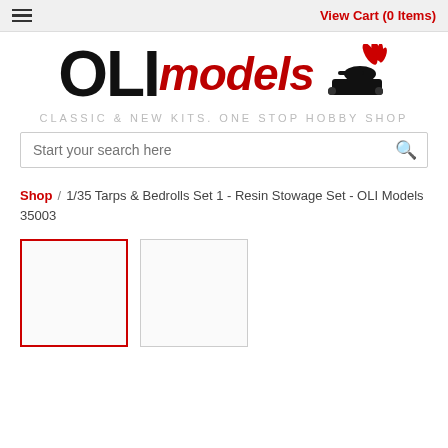View Cart (0 Items)
[Figure (logo): OLI models logo with tank illustration]
CLASSIC & NEW KITS. ONE STOP HOBBY SHOP
Start your search here
Shop / 1/35 Tarps & Bedrolls Set 1 - Resin Stowage Set - OLI Models 35003
[Figure (photo): Two product thumbnail images, first selected with red border]